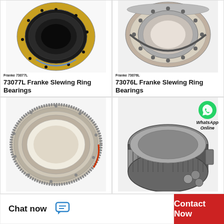[Figure (photo): Franke 73077L slewing ring bearing with gold/brass colored outer ring and dark inner ring with bolt holes]
Franke 73077L
73077L Franke Slewing Ring Bearings
[Figure (photo): Franke 73076L slewing ring bearing with silver metallic finish and gear teeth on outer ring]
Franke 73076L
73076L Franke Slewing Ring Bearings
[Figure (photo): Large flat slewing ring bearing with fine gear teeth on outer edge, metallic silver/chrome finish]
[Figure (photo): Heavy-duty cylindrical slewing ring bearing with external gear teeth, showing ball elements, with WhatsApp Online overlay]
Chat now
Contact Now